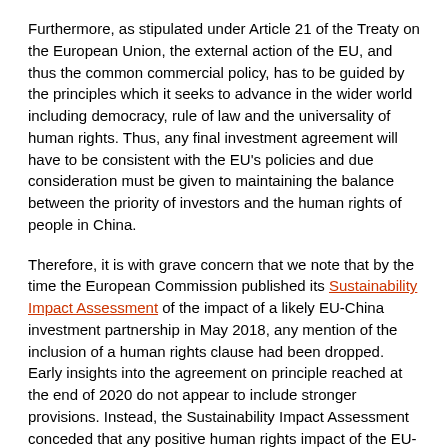Furthermore, as stipulated under Article 21 of the Treaty on the European Union, the external action of the EU, and thus the common commercial policy, has to be guided by the principles which it seeks to advance in the wider world including democracy, rule of law and the universality of human rights. Thus, any final investment agreement will have to be consistent with the EU's policies and due consideration must be given to maintaining the balance between the priority of investors and the human rights of people in China.
Therefore, it is with grave concern that we note that by the time the European Commission published its Sustainability Impact Assessment of the impact of a likely EU-China investment partnership in May 2018, any mention of the inclusion of a human rights clause had been dropped. Early insights into the agreement on principle reached at the end of 2020 do not appear to include stronger provisions. Instead, the Sustainability Impact Assessment conceded that any positive human rights impact of the EU-China investment partnership would largely depend on: the existing laws and policies in the host countries to protect human rights; the capacity to implement these rights; the Corporate Social Responsibility and human rights policies and practices of foreign investors.
It appears evident from declarations subscribed to by EU Member States themselves, as well as the increasing reports of gross human